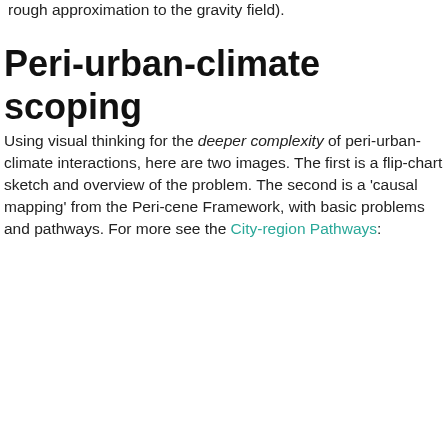rough approximation to the gravity field).
Peri-urban-climate scoping
Using visual thinking for the deeper complexity of peri-urban-climate interactions, here are two images. The first is a flip-chart sketch and overview of the problem. The second is a 'causal mapping' from the Peri-cene Framework, with basic problems and pathways. For more see the City-region Pathways:
[Figure (infographic): Banner and partial diagram showing PERI-CENE SCOPING: VISUAL header with a flip-chart visualization of peri-urban problems. Shows boxes labeled 'Climate change increase flood risk & fire risk', 'Farm policy d... & native ec...', and 'P.U new development' with curved lines connecting them.]
Extended flip-chart visualization of problems:  example of peri-u...